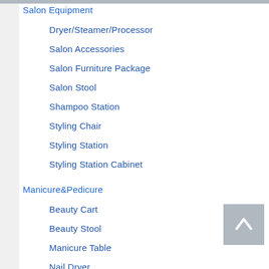Salon Equipment
Dryer/Steamer/Processor
Salon Accessories
Salon Furniture Package
Salon Stool
Shampoo Station
Styling Chair
Styling Station
Styling Station Cabinet
Manicure&Pedicure
Beauty Cart
Beauty Stool
Manicure Table
Nail Dryer